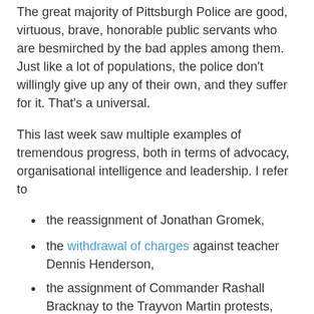The great majority of Pittsburgh Police are good, virtuous, brave, honorable public servants who are besmirched by the bad apples among them. Just like a lot of populations, the police don't willingly give up any of their own, and they suffer for it. That's a universal.
This last week saw multiple examples of tremendous progress, both in terms of advocacy, organisational intelligence and leadership. I refer to
the reassignment of Jonathan Gromek,
the withdrawal of charges against teacher Dennis Henderson,
the assignment of Commander Rashall Bracknay to the Trayvon Martin protests, and
Bracknay's advance work and handling of the situation.
It's so good to see that much good news, and my compliments to all involved - especially the folks behind the